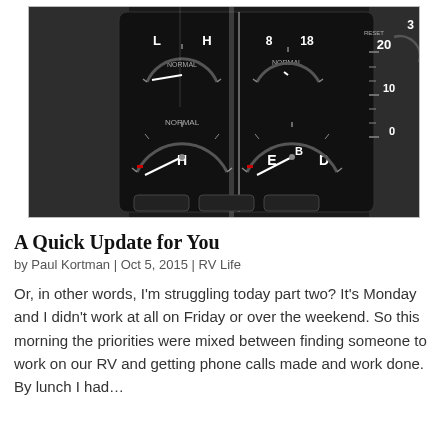[Figure (photo): Close-up photograph of an RV dashboard showing multiple analog gauges including temperature gauges labeled L, H, NORMAL, and fuel gauges labeled E, H, with numbers 8, 18, 20, 10, 0 visible on various dials.]
A Quick Update for You
by Paul Kortman | Oct 5, 2015 | RV Life
Or, in other words, I'm struggling today part two? It's Monday and I didn't work at all on Friday or over the weekend. So this morning the priorities were mixed between finding someone to work on our RV and getting phone calls made and work done.  By lunch I had…